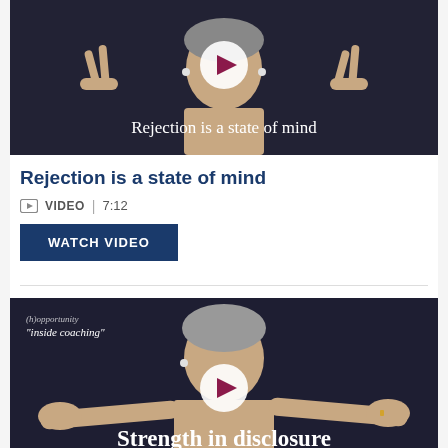[Figure (screenshot): Video thumbnail showing a man making peace signs with both hands against a dark background, with white text overlay 'Rejection is a state of mind' and a play button]
Rejection is a state of mind
VIDEO | 7:12
WATCH VIDEO
[Figure (screenshot): Video thumbnail showing a man with open hands against dark background, with text overlay '(h)opportunity' and '"inside coaching"' in top left, large white text 'Strength in disclosure' at bottom, and a play button]